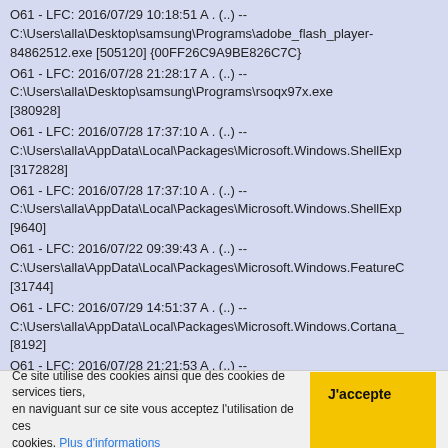O61 - LFC: 2016/07/29 10:18:51 A . (..) -- C:\Users\alla\Desktop\samsung\Programs\adobe_flash_player-84862512.exe [505120] {00FF26C9A9BE826C7C}
O61 - LFC: 2016/07/28 21:28:17 A . (..) -- C:\Users\alla\Desktop\samsung\Programs\rsoqx97x.exe [380928]
O61 - LFC: 2016/07/28 17:37:10 A . (..) -- C:\Users\alla\AppData\Local\Packages\Microsoft.Windows.ShellExp [3172828]
O61 - LFC: 2016/07/28 17:37:10 A . (..) -- C:\Users\alla\AppData\Local\Packages\Microsoft.Windows.ShellExp [9640]
O61 - LFC: 2016/07/22 09:39:43 A . (..) -- C:\Users\alla\AppData\Local\Packages\Microsoft.Windows.FeatureC [31744]
O61 - LFC: 2016/07/29 14:51:37 A . (..) -- C:\Users\alla\AppData\Local\Packages\Microsoft.Windows.Cortana_ [8192]
O61 - LFC: 2016/07/28 21:21:53 A . (..) -- C:\Users\alla\AppData\Local\Packages\Microsoft.MicrosoftEdge_8w
Ce site utilise des cookies ainsi que des cookies de services tiers, en naviguant sur ce site vous acceptez l'utilisation de ces cookies. Plus d'informations